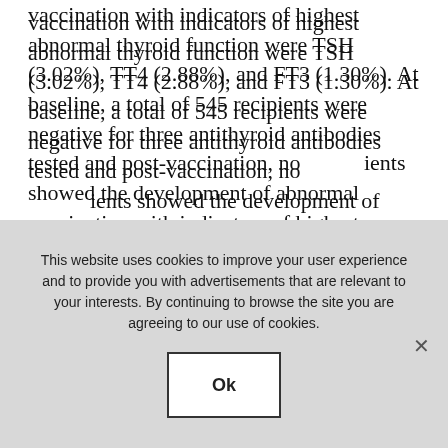vaccination with indicators of highest abnormal thyroid function were TSH (3.02%), TT4 (2.88%), and FT3 (1.30%). At baseline, a total of 545 recipients were negative for three antithyroid antibodies tested and post-vaccination, no patients showed the development of abnormal antibodies. In addition, the researchers observed >99% of recipients with negative TPOAb, TgAb, or TRAb at baseline maintained optimal range of the corresponding antibody, while only few recipients had slightly elevated TPOAb or
PREVIOUS POST
NEXT POST
This website uses cookies to improve your user experience and to provide you with advertisements that are relevant to your interests. By continuing to browse the site you are agreeing to our use of cookies.
Ok